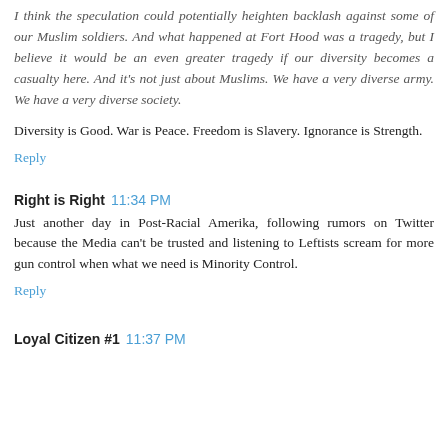I think the speculation could potentially heighten backlash against some of our Muslim soldiers. And what happened at Fort Hood was a tragedy, but I believe it would be an even greater tragedy if our diversity becomes a casualty here. And it's not just about Muslims. We have a very diverse army. We have a very diverse society.
Diversity is Good. War is Peace. Freedom is Slavery. Ignorance is Strength.
Reply
Right is Right 11:34 PM
Just another day in Post-Racial Amerika, following rumors on Twitter because the Media can't be trusted and listening to Leftists scream for more gun control when what we need is Minority Control.
Reply
Loyal Citizen #1 11:37 PM